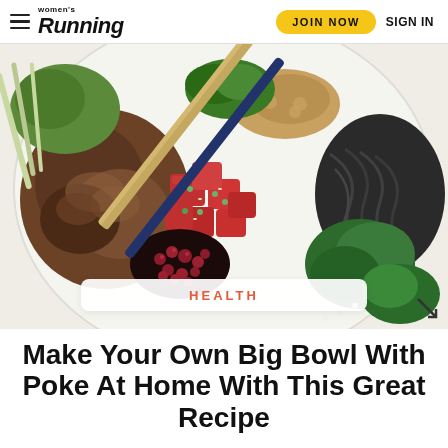Women's Running | JOIN NOW | SIGN IN
[Figure (photo): Overhead view of a poke bowl with tuna, pomegranate seeds, soba noodles, bok choy, mushrooms, peanuts, cilantro, and chopsticks on a white plate]
HEALTH
Make Your Own Big Bowl With Poke At Home With This Great Recipe